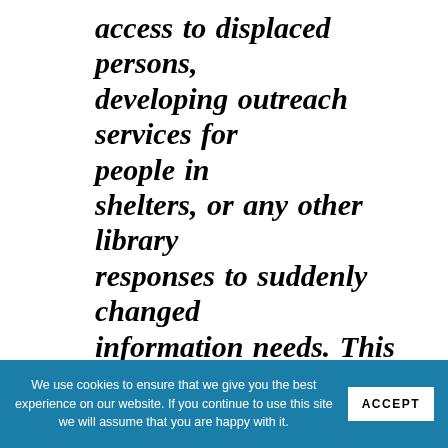access to displaced persons, developing outreach services for people in shelters, or any other library responses to suddenly   changed information needs. This research effort goes well beyond the traditional focus of disaster planning-that
We use cookies to ensure that we give you the best experience on our website. If you continue to use this site we will assume that you are happy with it. ACCEPT